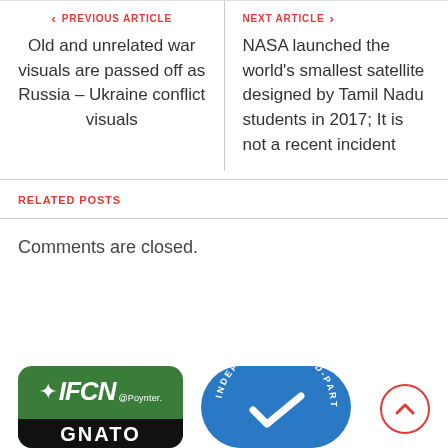PREVIOUS ARTICLE
Old and unrelated war visuals are passed off as Russia – Ukraine conflict visuals
NEXT ARTICLE
NASA launched the world's smallest satellite designed by Tamil Nadu students in 2017; It is not a recent incident
RELATED POSTS
Comments are closed.
[Figure (logo): IFCN @Poynter signatory logo on green background]
[Figure (logo): Independent Third-Party badge on blue circular background]